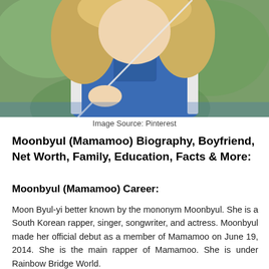[Figure (photo): Close-up photo of a person with blonde hair wearing a denim vest/overalls, holding something white (possibly a straw or stick). Green blurred background.]
Image Source: Pinterest
Moonbyul (Mamamoo) Biography, Boyfriend, Net Worth, Family, Education, Facts & More:
Moonbyul (Mamamoo) Career:
Moon Byul-yi better known by the mononym Moonbyul. She is a South Korean rapper, singer, songwriter, and actress. Moonbyul made her official debut as a member of Mamamoo on June 19, 2014. She is the main rapper of Mamamoo. She is under Rainbow Bridge World.